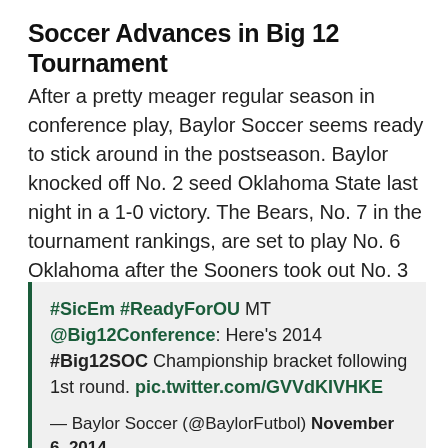Soccer Advances in Big 12 Tournament
After a pretty meager regular season in conference play, Baylor Soccer seems ready to stick around in the postseason. Baylor knocked off No. 2 seed Oklahoma State last night in a 1-0 victory. The Bears, No. 7 in the tournament rankings, are set to play No. 6 Oklahoma after the Sooners took out No. 3 Kansas last night. The match is set for 8 p.m. on Friday.
#SicEm #ReadyForOU MT @Big12Conference: Here's 2014 #Big12SOC Championship bracket following 1st round. pic.twitter.com/GVVdKIVHKE

— Baylor Soccer (@BaylorFutbol) November 6, 2014